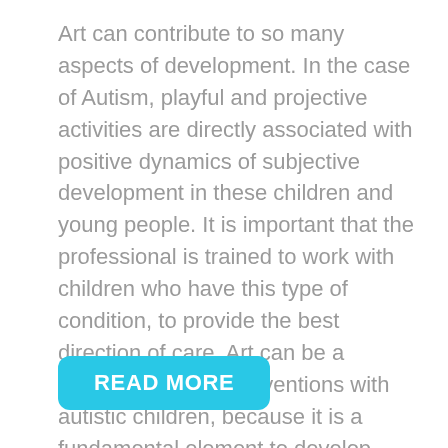Art can contribute to so many aspects of development. In the case of Autism, playful and projective activities are directly associated with positive dynamics of subjective development in these children and young people. It is important that the professional is trained to work with children who have this type of condition, to provide the best direction of care. Art can be a valuable tool for interventions with autistic children, because it is a fundamental element to develop activities that constitute a stimulus for their social interaction and development of communication. This article gives you 5 books that explain the benefits of art in autistic people.
READ MORE